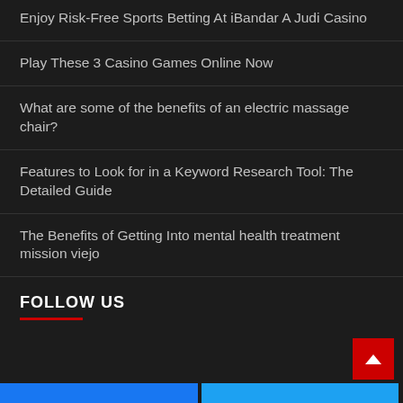Enjoy Risk-Free Sports Betting At iBandar A Judi Casino
Play These 3 Casino Games Online Now
What are some of the benefits of an electric massage chair?
Features to Look for in a Keyword Research Tool: The Detailed Guide
The Benefits of Getting Into mental health treatment mission viejo
FOLLOW US